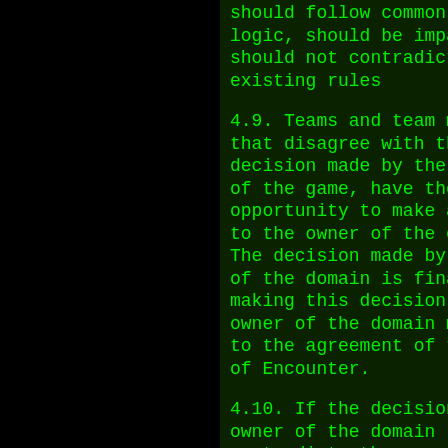should follow common sense and logic, should be impartial and should not contradict with any existing rules
4.9. Teams and team members that disagree with the decision made by the authors of the game, have the opportunity to make an appeal to the owner of the domain. The decision made by the owner of the domain is final. In making this decision, the owner of the domain must refer to the agreement of the owners of Encounter.
4.10. If the decision of the owner of the domain contradicts the agreement of the owners of Encounter, the decision made by the owner of the domain can be overruled by the owner of Encounter